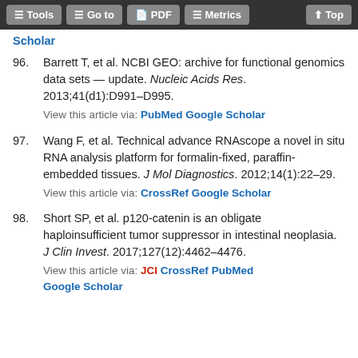Tools | Go to | PDF | Metrics | Top
Scholar
96. Barrett T, et al. NCBI GEO: archive for functional genomics data sets — update. Nucleic Acids Res. 2013;41(d1):D991–D995. View this article via: PubMed Google Scholar
97. Wang F, et al. Technical advance RNAscope a novel in situ RNA analysis platform for formalin-fixed, paraffin-embedded tissues. J Mol Diagnostics. 2012;14(1):22–29. View this article via: CrossRef Google Scholar
98. Short SP, et al. p120-catenin is an obligate haploinsufficient tumor suppressor in intestinal neoplasia. J Clin Invest. 2017;127(12):4462–4476. View this article via: JCI CrossRef PubMed Google Scholar